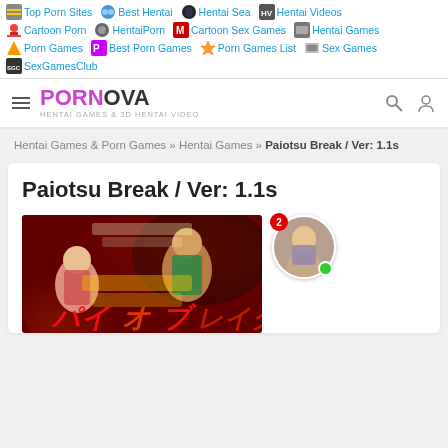Top Porn Sites | Best Hentai | Hentai Sea | Hentai Videos | Cartoon Porn | HentaiPorn | Cartoon Sex Games | Hentai Games | Porn Games | Best Porn Games | Porn Games List | Sex Games | SexGamesClub
PORNOVA HENTAI GAMES & 3D HENTAI VIDEO
Hentai Games & Porn Games » Hentai Games » Paiotsu Break / Ver: 1.1s
Paiotsu Break / Ver: 1.1s
[Figure (screenshot): Hentai game cover art for Paiotsu Break featuring anime-style characters with Japanese text]